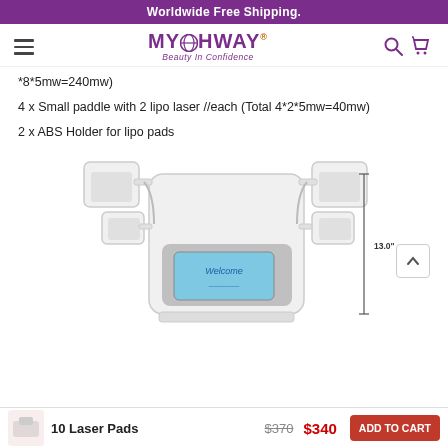Worldwide Free Shipping.
[Figure (logo): MYCHWAY logo with globe icon and tagline 'Beauty In Confidence']
*8*5mw=240mw)
4 x Small paddle with 2 lipo laser //each (Total 4*2*5mw=40mw)
2 x ABS Holder for lipo pads
[Figure (photo): White lipo laser machine with multiple paddle attachments and a touchscreen displaying 'Welcome'. A vertical dimension line on the right indicates 13.0 inches.]
10 Laser Pads   $370  $340  ADD TO CART